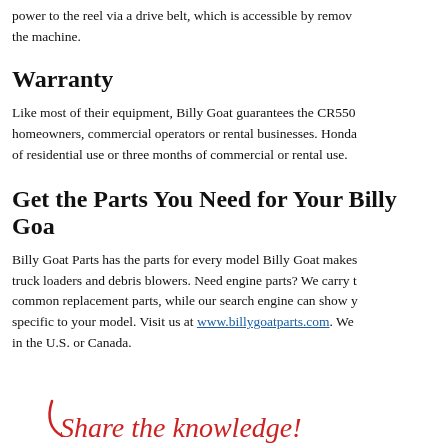power to the reel via a drive belt, which is accessible by removing the machine.
Warranty
Like most of their equipment, Billy Goat guarantees the CR550 homeowners, commercial operators or rental businesses. Honda of residential use or three months of commercial or rental use.
Get the Parts You Need for Your Billy Goa
Billy Goat Parts has the parts for every model Billy Goat makes truck loaders and debris blowers. Need engine parts? We carry t common replacement parts, while our search engine can show y specific to your model. Visit us at www.billygoatparts.com. We in the U.S. or Canada.
Share the knowledge!